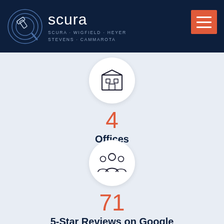Scura Wigfield Heyer Stevens Cammarota
[Figure (infographic): Building/office icon inside a white circle]
4
Offices
[Figure (infographic): Group of people/team icon inside a white circle]
71
5-Star Reviews on Google